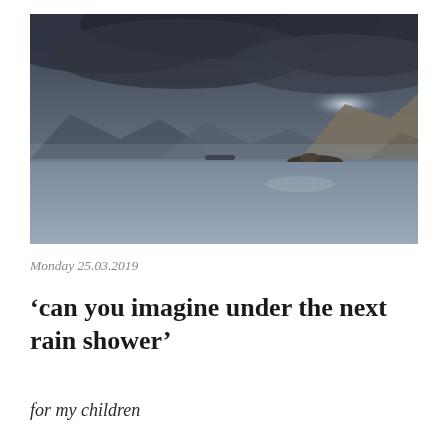[Figure (photo): A moody landscape photograph of a mountain lake under stormy dark grey clouds. Mountains recede into the distance with mist and a dramatic shaft of light breaking through the clouds on the right side. The calm water of the lake fills the foreground.]
Monday 25.03.2019
‘can you imagine under the next rain shower’
for my children